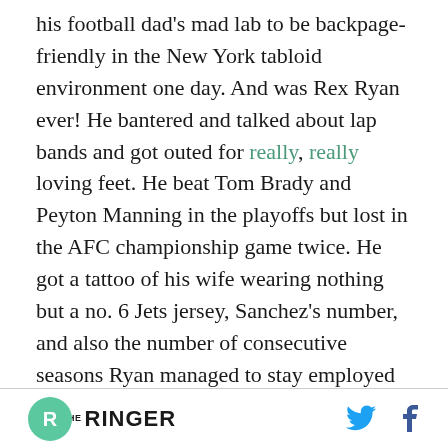his football dad's mad lab to be backpage-friendly in the New York tabloid environment one day. And was Rex Ryan ever! He bantered and talked about lap bands and got outed for really, really loving feet. He beat Tom Brady and Peyton Manning in the playoffs but lost in the AFC championship game twice. He got a tattoo of his wife wearing nothing but a no. 6 Jets jersey, Sanchez's number, and also the number of consecutive seasons Ryan managed to stay employed by New York, longer than any other Jets coach since the '80s, or since Ryan was finally fired in 2016.
THE RINGER